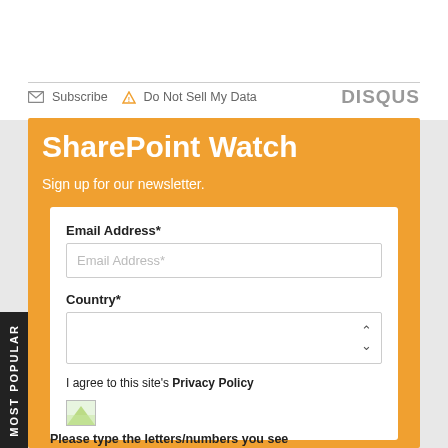Subscribe   Do Not Sell My Data   DISQUS
SharePoint Watch
Sign up for our newsletter.
Email Address*
Country*
I agree to this site's Privacy Policy
Please type the letters/numbers you see
MOST POPULAR